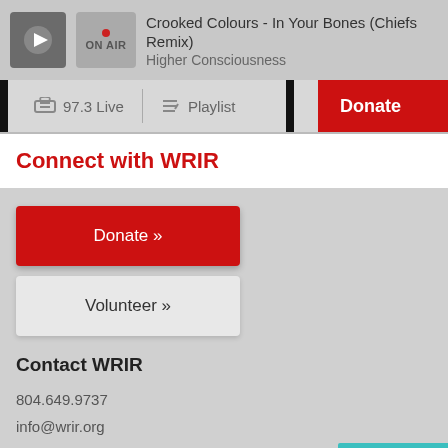Crooked Colours - In Your Bones (Chiefs Remix)
Higher Consciousness
97.3 Live
Playlist
Donate
Connect with WRIR
Donate »
Volunteer »
Contact WRIR
804.649.9737
info@wrir.org
Stay Informed
Feedback?